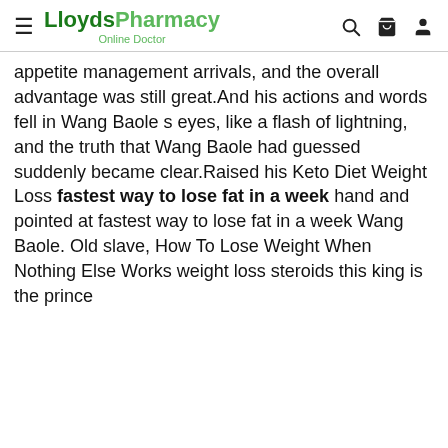LloydsPharmacy Online Doctor
appetite management arrivals, and the overall advantage was still great.And his actions and words fell in Wang Baole s eyes, like a flash of lightning, and the truth that Wang Baole had guessed suddenly became clear.Raised his Keto Diet Weight Loss fastest way to lose fat in a week hand and pointed at fastest way to lose fat in a week Wang Baole. Old slave, How To Lose Weight When Nothing Else Works weight loss steroids this king is the prince